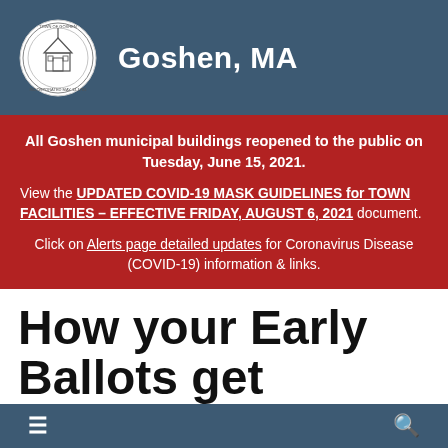Goshen, MA
All Goshen municipal buildings reopened to the public on Tuesday, June 15, 2021.

View the UPDATED COVID-19 MASK GUIDELINES for TOWN FACILITIES – EFFECTIVE FRIDAY, AUGUST 6, 2021 document.

Click on Alerts page detailed updates for Coronavirus Disease (COVID-19) information & links.
How your Early Ballots get Processed
≡  🔍